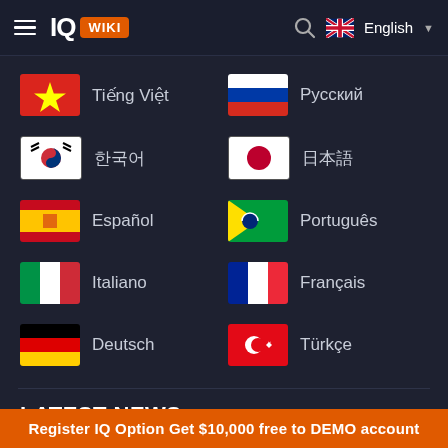IQ WIKI — English
Tiếng Việt
Русский
한국어
日本語
Español
Português
Italiano
Français
Deutsch
Türkçe
LATEST NEWS
Register IQ Option Get $10,000 free to DEMO account